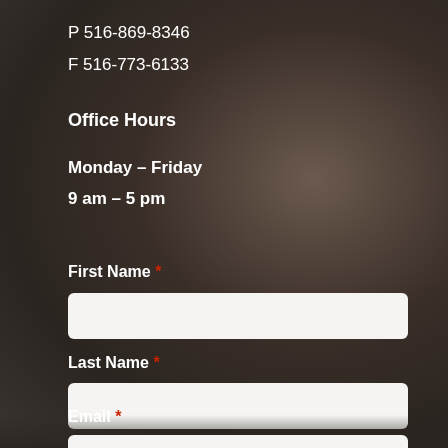P 516-869-8346
F 516-773-6133
Office Hours
Monday – Friday
9 am – 5 pm
First Name *
Last Name *
Email *